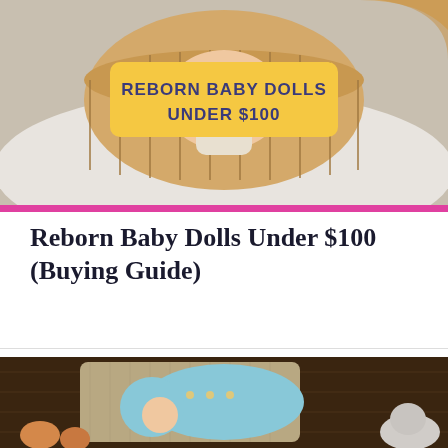[Figure (photo): Top image showing a reborn baby doll in a wicker basket on a white fluffy surface, with a yellow banner reading 'REBORN BABY DOLLS UNDER $100' in bold purple/navy text, topped with a pink horizontal bar at the bottom]
Reborn Baby Dolls Under $100 (Buying Guide)
[Figure (photo): Photo of a reborn baby doll dressed in a light blue knitted outfit and matching bonnet, lying on a burlap pillow surrounded by small stuffed animal toys on a dark wooden background]